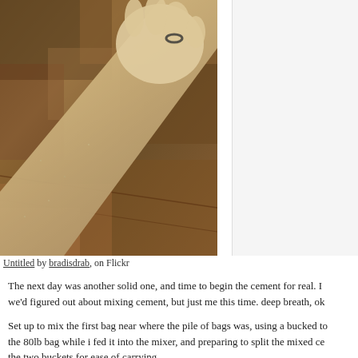[Figure (photo): A photo of a person's arm and hand covered in cement/concrete dust, with a ring visible on one finger. The background shows a floor with tile or stone pattern.]
Untitled by bradisdrab, on Flickr
The next day was another solid one, and time to begin the cement for real. I we'd figured out about mixing cement, but just me this time. deep breath, ok
Set up to mix the first bag near where the pile of bags was, using a bucked to the 80lb bag while i fed it into the mixer, and preparing to split the mixed ce the two buckets for ease of carrying…